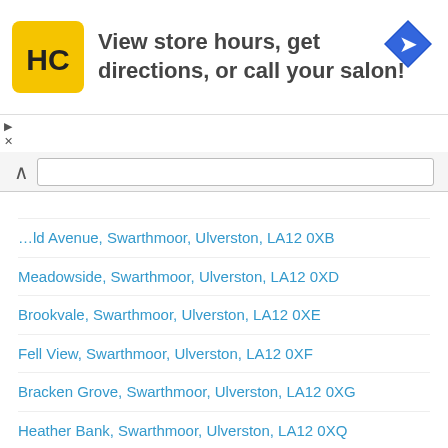[Figure (illustration): Advertisement banner: HC logo (yellow square with HC text), text 'View store hours, get directions, or call your salon!', blue navigation arrow icon on the right]
…ld Avenue, Swarthmoor, Ulverston, LA12 0XB
Meadowside, Swarthmoor, Ulverston, LA12 0XD
Brookvale, Swarthmoor, Ulverston, LA12 0XE
Fell View, Swarthmoor, Ulverston, LA12 0XF
Bracken Grove, Swarthmoor, Ulverston, LA12 0XG
Heather Bank, Swarthmoor, Ulverston, LA12 0XQ
Ulverston, LA12 0ZS (No Longer In Use)
Ulverston, LA12 2AA (No Longer In Use)
Ulverston, LA12 2AB (No Longer In Use)
Ulverston, LA12 2AD (No Longer In Use)
Ulverston, LA12 2AE (No Longer In Use)
Ulverston, LA12 2AF (No Longer In Use)